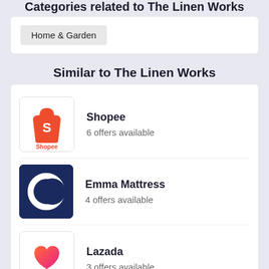Categories related to The Linen Works
Home & Garden
Similar to The Linen Works
Shopee
6 offers available
Emma Mattress
4 offers available
Lazada
3 offers available
Abenson
3 offers available